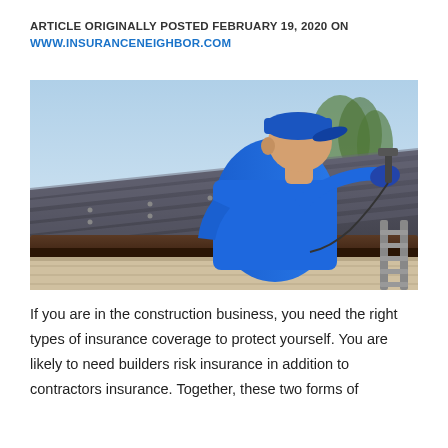ARTICLE ORIGINALLY POSTED FEBRUARY 19, 2020 ON WWW.INSURANCENEIGHBOR.COM
[Figure (photo): A man wearing a blue t-shirt and blue baseball cap works on a dark metal roof, using a tool while standing on a ladder. The sky is light blue in the background with some trees visible.]
If you are in the construction business, you need the right types of insurance coverage to protect yourself. You are likely to need builders risk insurance in addition to contractors insurance. Together, these two forms of